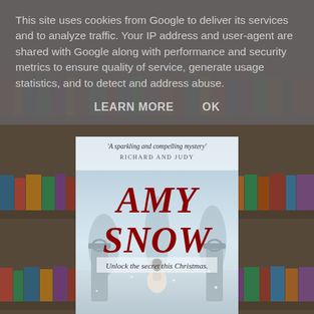[Figure (screenshot): Screenshot of a webpage showing a cookie consent banner overlaid on a book listing page. The background shows library bookshelves. In the foreground is the book cover for 'Amy Snow' with text 'A sparkling and compelling mystery - Richard and Judy', 'AMY SNOW', 'Unlock the secret this Christmas.' The cookie banner reads: 'This site uses cookies from Google to deliver its services and to analyze traffic. Your IP address and user-agent are shared with Google along with performance and security metrics to ensure quality of service, generate usage statistics, and to detect and address abuse.' with buttons 'LEARN MORE' and 'OK'.]